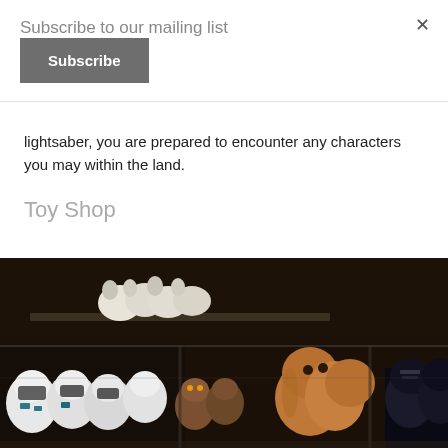Subscribe to our mailing list
Subscribe
lightsaber, you are prepared to encounter any characters you may within the land.
Toy Shop
[Figure (photo): A display case filled with Star Wars plush toys including Stormtroopers, Jawas, and Chewbacca stuffed animals arranged in a dimly lit shop.]